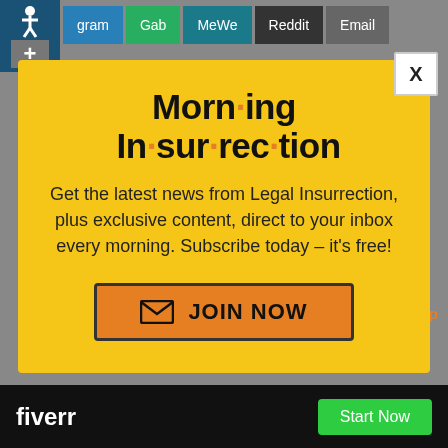gram | Gab | MeWe | Reddit | Email
[Figure (screenshot): Background webpage with gray overlay, bottom close X button, Back to top button, fiverr ad bar at bottom]
Morning Insurrection
Get the latest news from Legal Insurrection, plus exclusive content, direct to your inbox every morning. Subscribe today – it's free!
JOIN NOW